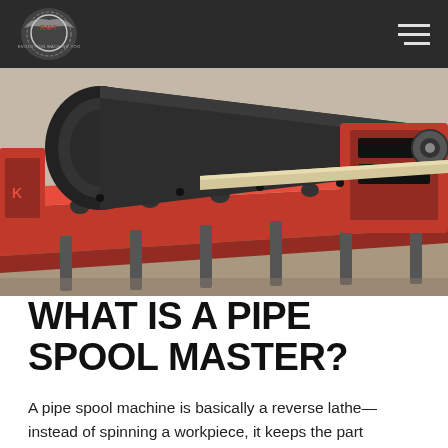RMT Revolution Machine Tool logo and navigation
[Figure (photo): Industrial pipe spool machine with red steel frame and support rollers holding a large black pipe in a manufacturing facility.]
WHAT IS A PIPE SPOOL MASTER?
A pipe spool machine is basically a reverse lathe—instead of spinning a workpiece, it keeps the part stationary and secure while